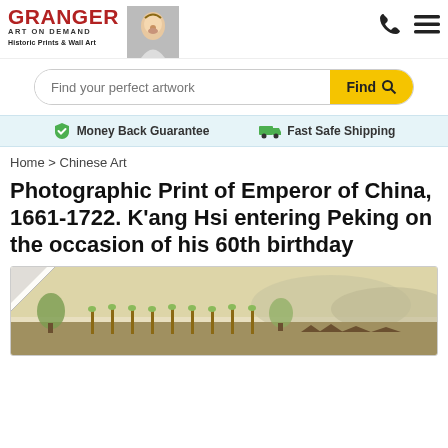[Figure (logo): Granger Art on Demand logo with red GRANGER text, subtitle ART ON DEMAND, and a black and white photo of a woman]
Historic Prints & Wall Art
Find your perfect artwork
Find
Money Back Guarantee
Fast Safe Shipping
Home > Chinese Art
Photographic Print of Emperor of China, 1661-1722. K'ang Hsi entering Peking on the occasion of his 60th birthday
[Figure (photo): Partial view of a Chinese historical painting/scroll depicting Emperor K'ang Hsi entering Peking, showing a procession with figures and traditional architecture in muted earth tones]